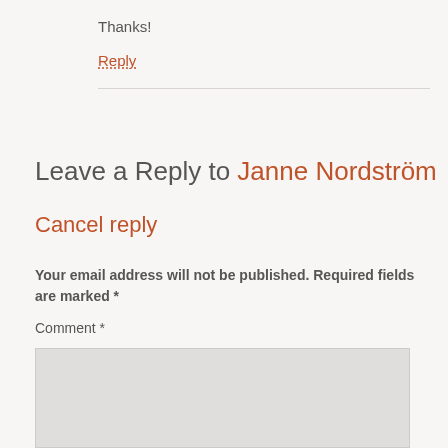Thanks!
Reply
Leave a Reply to Janne Nordström
Cancel reply
Your email address will not be published. Required fields are marked *
Comment *